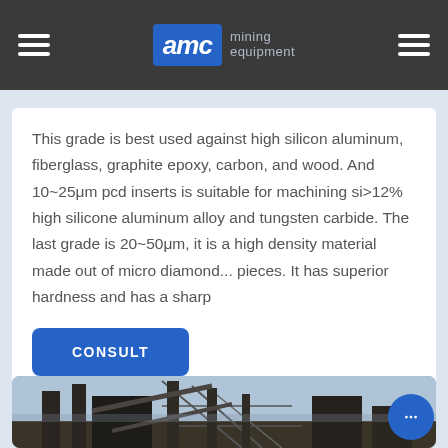AMC mining equipment
This grade is best used against high silicon aluminum, fiberglass, graphite epoxy, carbon, and wood. And 10~25μm pcd inserts is suitable for machining si>12% high silicone aluminum alloy and tungsten carbide. The last grade is 20~50μm, it is a high density material made out of micro diamond... pieces. It has superior hardness and has a sharp
CONSULT
[Figure (photo): Industrial mining equipment / processing plant structure photographed from below against a sky background]